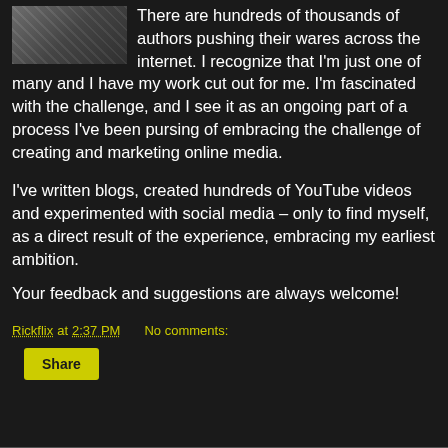[Figure (photo): Photo of hands on a keyboard, partially visible at top left]
There are hundreds of thousands of authors pushing their wares across the internet. I recognize that I'm just one of many and I have my work cut out for me. I'm fascinated with the challenge, and I see it as an ongoing part of a process I've been pursing of embracing the challenge of creating and marketing online media.
I've written blogs, created hundreds of YouTube videos and experimented with social media – only to find myself, as a direct result of the experience, embracing my earliest ambition.
Your feedback and suggestions are always welcome!
Rickflix at 2:37 PM    No comments: